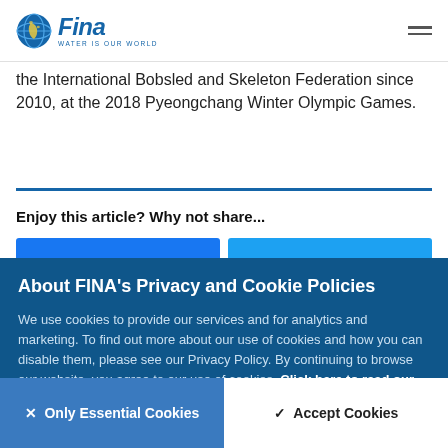[Figure (logo): FINA logo with globe icon and text 'Fina' in blue, tagline 'WATER IS OUR WORLD', hamburger menu icon top right]
the International Bobsled and Skeleton Federation since 2010, at the 2018 Pyeongchang Winter Olympic Games.
Enjoy this article? Why not share...
About FINA's Privacy and Cookie Policies
We use cookies to provide our services and for analytics and marketing. To find out more about our use of cookies and how you can disable them, please see our Privacy Policy. By continuing to browse our website, you agree to our use of cookies. Click here to read our privacy policy.
× Only Essential Cookies
✓ Accept Cookies